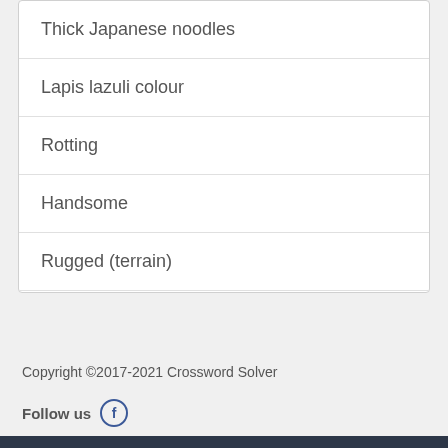Thick Japanese noodles
Lapis lazuli colour
Rotting
Handsome
Rugged (terrain)
Established practice
Copyright ©2017-2021 Crossword Solver
Follow us